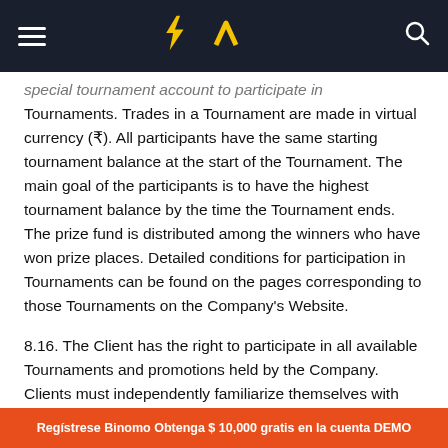Navigation bar with hamburger menu, Binomo logo, and search icon
special tournament account to participate in Tournaments. Trades in a Tournament are made in virtual currency (₮). All participants have the same starting tournament balance at the start of the Tournament. The main goal of the participants is to have the highest tournament balance by the time the Tournament ends. The prize fund is distributed among the winners who have won prize places. Detailed conditions for participation in Tournaments can be found on the pages corresponding to those Tournaments on the Company's Website.
8.16. The Client has the right to participate in all available Tournaments and promotions held by the Company. Clients must independently familiarize themselves with the conditions of such Tournaments
Regístrese Binomo Obtenga $ 10,000 gratis en la cuenta DEMO